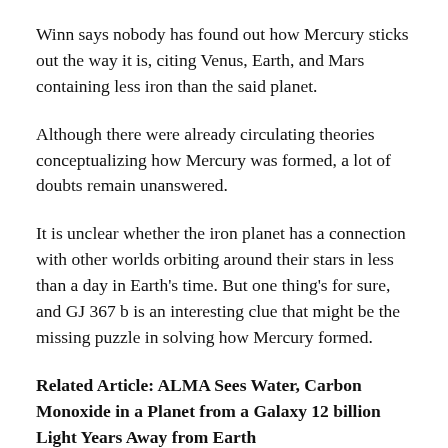Winn says nobody has found out how Mercury sticks out the way it is, citing Venus, Earth, and Mars containing less iron than the said planet.
Although there were already circulating theories conceptualizing how Mercury was formed, a lot of doubts remain unanswered.
It is unclear whether the iron planet has a connection with other worlds orbiting around their stars in less than a day in Earth's time. But one thing's for sure, and GJ 367 b is an interesting clue that might be the missing puzzle in solving how Mercury formed.
Related Article: ALMA Sees Water, Carbon Monoxide in a Planet from a Galaxy 12 billion Light Years Away from Earth
This article is owned by Tech Times…